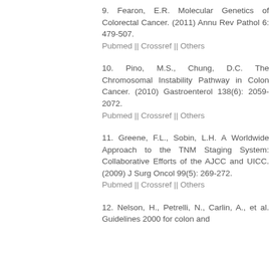9. Fearon, E.R. Molecular Genetics of Colorectal Cancer. (2011) Annu Rev Pathol 6: 479-507.
Pubmed || Crossref || Others
10. Pino, M.S., Chung, D.C. The Chromosomal Instability Pathway in Colon Cancer. (2010) Gastroenterol 138(6): 2059-2072.
Pubmed || Crossref || Others
11. Greene, F.L., Sobin, L.H. A Worldwide Approach to the TNM Staging System: Collaborative Efforts of the AJCC and UICC. (2009) J Surg Oncol 99(5): 269-272.
Pubmed || Crossref || Others
12. Nelson, H., Petrelli, N., Carlin, A., et al. Guidelines 2000 for colon and